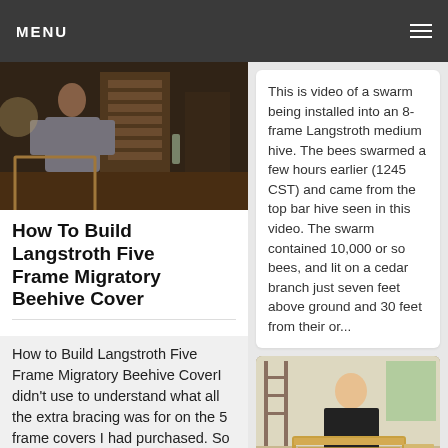MENU
[Figure (photo): Man working with wooden frames in a workshop]
How To Build Langstroth Five Frame Migratory Beehive Cover
How to Build Langstroth Five Frame Migratory Beehive CoverI didn't use to understand what all the extra bracing was for on the 5 frame covers I had purchased. So I tried just cutting a flat board
This is video of a swarm being installed into an 8-frame Langstroth medium hive. The bees swarmed a few hours earlier (1245 CST) and came from the top bar hive seen in this video. The swarm contained 10,000 or so bees, and lit on a cedar branch just seven feet above ground and 30 feet from their or...
[Figure (photo): Man working with wooden beehive frames on a workbench]